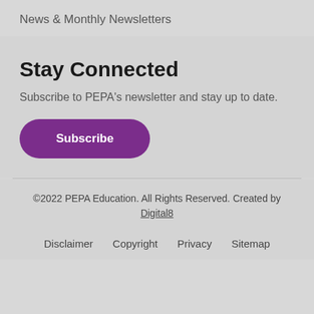News & Monthly Newsletters
Stay Connected
Subscribe to PEPA's newsletter and stay up to date.
Subscribe
©2022 PEPA Education. All Rights Reserved. Created by Digital8
Disclaimer  Copyright  Privacy  Sitemap